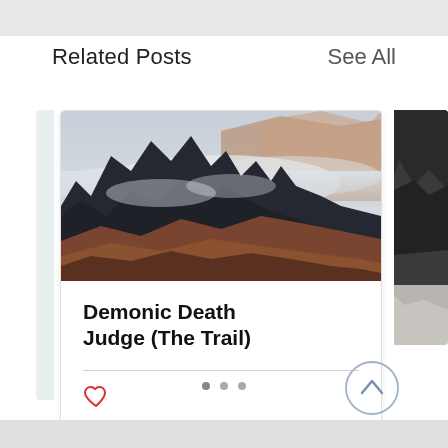Related Posts
See All
[Figure (photo): Mountain landscape with dramatic rocky peaks, clouds and mist swirling through dark rugged mountains, reddish-brown rock faces in the foreground]
Demonic Death Judge (The Trail)